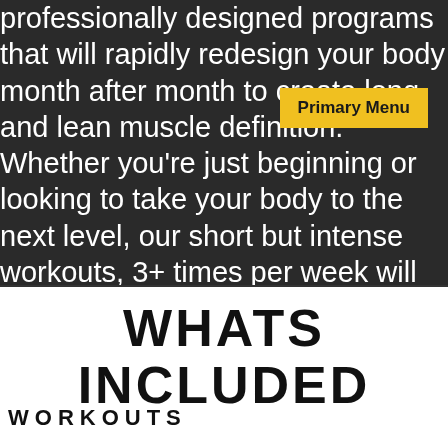professionally designed programs that will rapidly redesign your body month after month to create long and lean muscle definition. Whether you're just beginning or looking to take your body to the next level, our short but intense workouts, 3+ times per week will take you to your optimum level. If you're ready for a fresh new take on your health, then...
[Figure (screenshot): Primary Menu button in yellow/gold color overlaying the dark background text]
WHATS INCLUDED
WORKOUTS